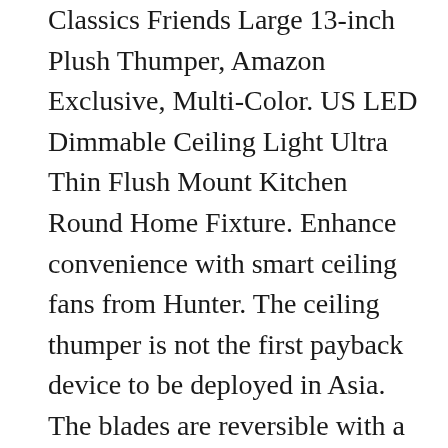Classics Friends Large 13-inch Plush Thumper, Amazon Exclusive, Multi-Color. US LED Dimmable Ceiling Light Ultra Thin Flush Mount Kitchen Round Home Fixture. Enhance convenience with smart ceiling fans from Hunter. The ceiling thumper is not the first payback device to be deployed in Asia. The blades are reversible with a pure white finish on the other side. I decided to install an Amazon Alexa (aka an Echo Dot) in my ceiling and hook it up to some ceiling speakers I had. Als je productpagina's hebt bekeken, kijk dan hier om eenvoudig terug te gaan naar de pagina's waarin je geïnteresseerd bent. Thumper – Bambi – 75th Anniversary – Jim Shore Enesco – 4055428: Amazon.de: Küche &